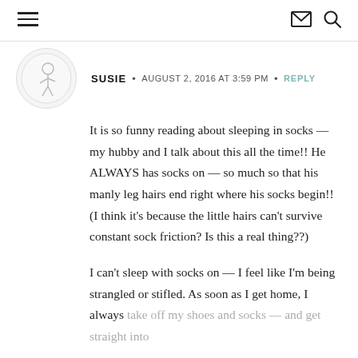Navigation header with hamburger menu, envelope icon, and search icon
[Figure (illustration): Circular avatar with a cartoon illustration of a person on a white background]
SUSIE  •  AUGUST 2, 2016 AT 3:59 PM  •  REPLY
It is so funny reading about sleeping in socks — my hubby and I talk about this all the time!! He ALWAYS has socks on — so much so that his manly leg hairs end right where his socks begin!! (I think it's because the little hairs can't survive constant sock friction? Is this a real thing??)
I can't sleep with socks on — I feel like I'm being strangled or stifled. As soon as I get home, I always take off my shoes and socks — and get straight into jammies of course.